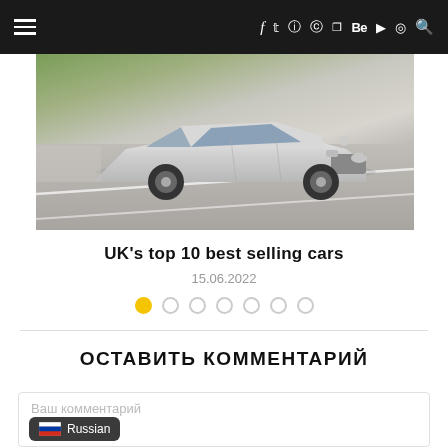Navigation and social icons header bar
[Figure (photo): Silver Mercedes-Benz car driving on a road, motion-blurred background, photographed from the front-side angle]
UK's top 10 best selling cars
15.06.2022
[Figure (other): Pagination dots: 7 circles, first one filled yellow, rest empty]
ОСТАВИТЬ КОММЕНТАРИЙ
Ваш комментарий
Russian